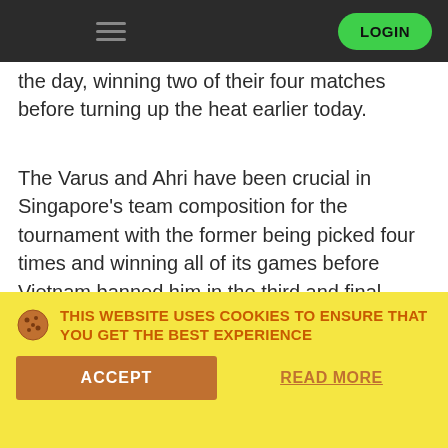LOGIN
the day, winning two of their four matches before turning up the heat earlier today.
The Varus and Ahri have been crucial in Singapore's team composition for the tournament with the former being picked four times and winning all of its games before Vietnam banned him in the third and final match. As for Ahri, she's made three appearances with two of those being in the 3-0 sweep alongside Varus.
RESIZE THIS IMAGE
[Figure (photo): Indoor venue ceiling with colorful stage lights including green ring lights, red, blue, and purple spotlights]
THIS WEBSITE USES COOKIES TO ENSURE THAT YOU GET THE BEST EXPERIENCE
ACCEPT
READ MORE